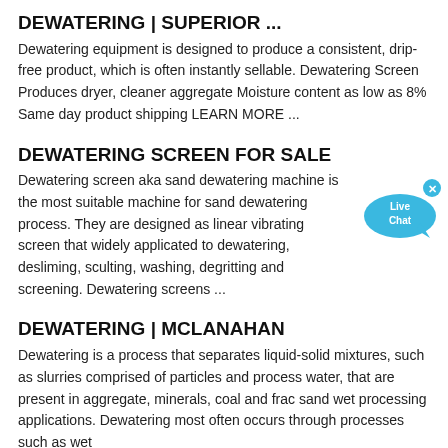DEWATERING | SUPERIOR ...
Dewatering equipment is designed to produce a consistent, drip-free product, which is often instantly sellable. Dewatering Screen Produces dryer, cleaner aggregate Moisture content as low as 8% Same day product shipping LEARN MORE ...
DEWATERING SCREEN FOR SALE
Dewatering screen aka sand dewatering machine is the most suitable machine for sand dewatering process. They are designed as linear vibrating screen that widely applicated to dewatering, desliming, sculting, washing, degritting and screening. Dewatering screens ...
DEWATERING | MCLANAHAN
Dewatering is a process that separates liquid-solid mixtures, such as slurries comprised of particles and process water, that are present in aggregate, minerals, coal and frac sand wet processing applications. Dewatering most often occurs through processes such as wet